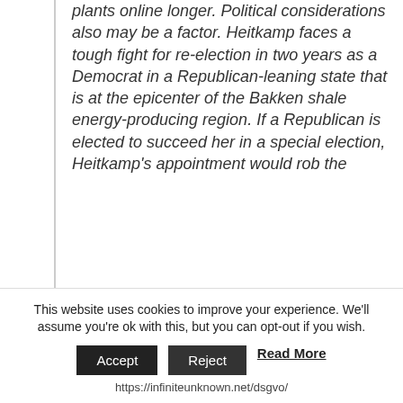plants online longer. Political considerations also may be a factor. Heitkamp faces a tough fight for re-election in two years as a Democrat in a Republican-leaning state that is at the epicenter of the Bakken shale energy-producing region. If a Republican is elected to succeed her in a special election, Heitkamp's appointment would rob the
This website uses cookies to improve your experience. We'll assume you're ok with this, but you can opt-out if you wish.
Accept   Reject   Read More
https://infiniteunknown.net/dsgvo/